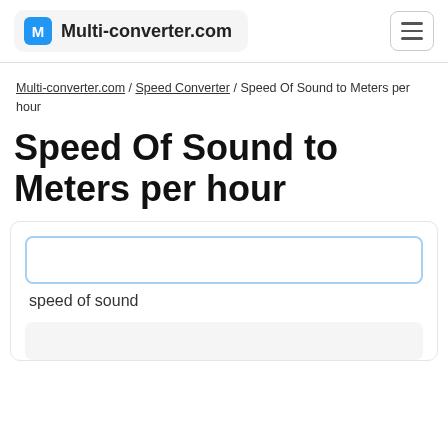Multi-converter.com
Multi-converter.com / Speed Converter / Speed Of Sound to Meters per hour
Speed Of Sound to Meters per hour
speed of sound